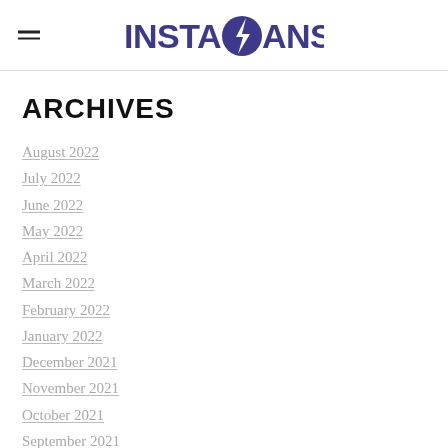INSTA ANSWER
ARCHIVES
August 2022
July 2022
June 2022
May 2022
April 2022
March 2022
February 2022
January 2022
December 2021
November 2021
October 2021
September 2021